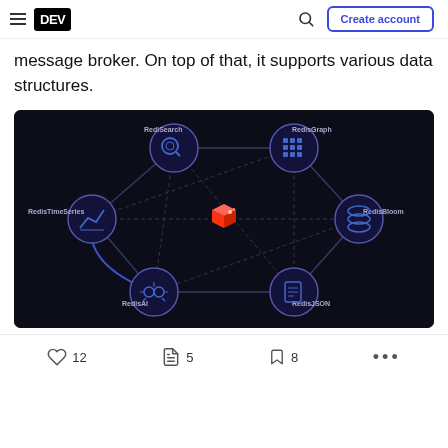DEV — Create account
message broker. On top of that, it supports various data structures.
[Figure (illustration): Dark-background diagram showing Redis at the center (red logo) connected by dashed lines to five module circles arranged in a pentagon: RediSearch (top-left), RedisGraph (top-right), RedisBloom (right), RedisJSON (bottom-right), RedisAI (bottom-left), RedisTimeSeries (left).]
♡ 12   🔥 5   🔖 8   ...